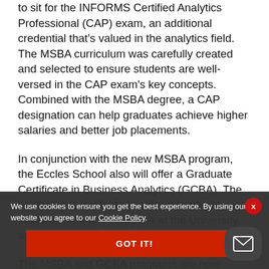to sit for the INFORMS Certified Analytics Professional (CAP) exam, an additional credential that's valued in the analytics field. The MSBA curriculum was carefully created and selected to ensure students are well-versed in the CAP exam's key concepts. Combined with the MSBA degree, a CAP designation can help graduates achieve higher salaries and better job placements.
In conjunction with the new MSBA program, the Eccles School also will offer a Graduate Certificate in Business Analytics (GCBA). The certificate is available to current graduate students from any discipline at the University, as well as non-degree-seeking students.
The MSBA and GCBA programs are now accepting applications for spring and fall 2017. More
We use cookies to ensure you get the best experience. By using our website you agree to our Cookie Policy.